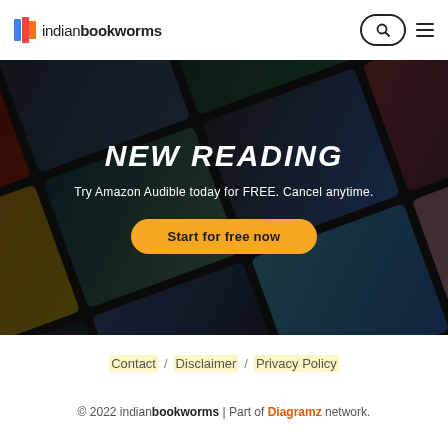indianbookworms
[Figure (screenshot): Hero banner with book covers in background showing 'NEW READING' title, subtitle 'Try Amazon Audible today for FREE. Cancel anytime.' and a yellow 'Start for free now' button]
Contact / Disclaimer / Privacy Policy
© 2022 indianbookworms | Part of Diagramz network.